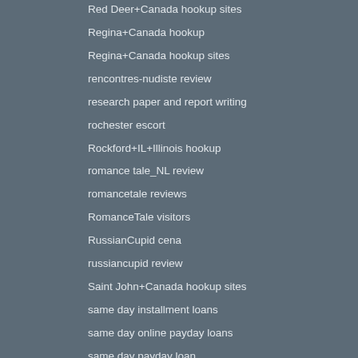Red Deer+Canada hookup sites
Regina+Canada hookup
Regina+Canada hookup sites
rencontres-nudiste review
research paper and report writing
rochester escort
Rockford+IL+Illinois hookup
romance tale_NL review
romancetale reviews
RomanceTale visitors
RussianCupid cena
russiancupid review
Saint John+Canada hookup sites
same day installment loans
same day online payday loans
same day payday loan
same day payday loan online